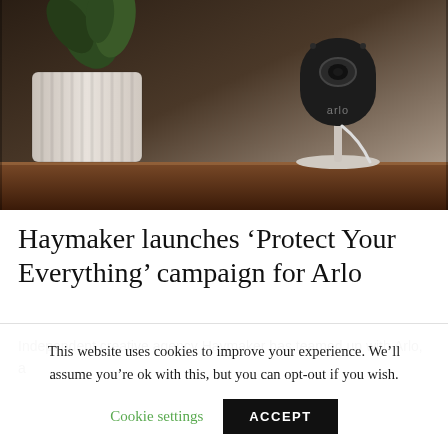[Figure (photo): Photo of an Arlo security camera on a stand placed on a wooden shelf next to a white ribbed plant pot with a green plant. The camera is a black oval-shaped device with the 'arlo' logo visible. Background is dark/warm toned.]
Haymaker launches ‘Protect Your Everything’ campaign for Arlo
Independent creative agency Haymaker has teamed up with Arlo, a
This website uses cookies to improve your experience. We’ll assume you’re ok with this, but you can opt-out if you wish.
Cookie settings    ACCEPT